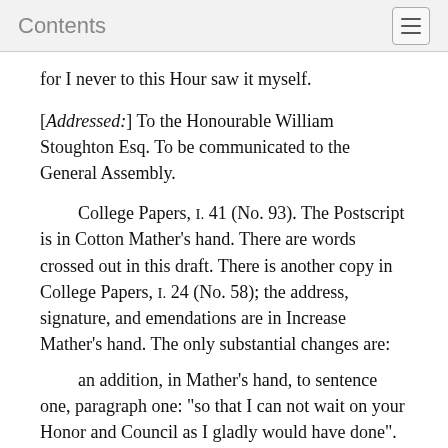Contents
for I never to this Hour saw it myself.
[Addressed:] To the Honourable William Stoughton Esq. To be communicated to the General Assembly.
College Papers, I. 41 (No. 93). The Postscript is in Cotton Mather’s hand. There are words crossed out in this draft. There is another copy in College Papers, I. 24 (No. 58); the address, signature, and emendations are in Increase Mather’s hand. The only substantial changes are:
an addition, in Mather’s hand, to sentence one, paragraph one: “so that I can not wait on your Honor and Council as I gladly would have done”.
in the address: “William Stoughton Esq.” is crossed out and “the Lieut. Governour and Council”